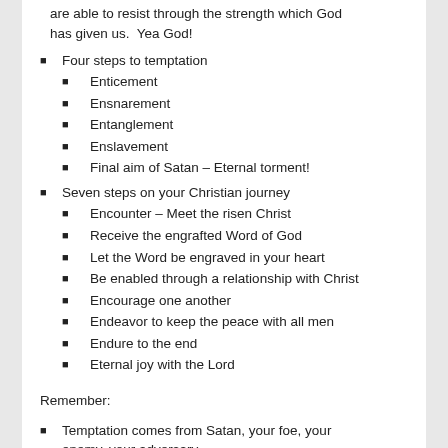are able to resist through the strength which God has given us.  Yea God!
Four steps to temptation
Enticement
Ensnarement
Entanglement
Enslavement
Final aim of Satan – Eternal torment!
Seven steps on your Christian journey
Encounter – Meet the risen Christ
Receive the engrafted Word of God
Let the Word be engraved in your heart
Be enabled through a relationship with Christ
Encourage one another
Endeavor to keep the peace with all men
Endure to the end
Eternal joy with the Lord
Remember:
Temptation comes from Satan, your foe, your enemy, your adversary